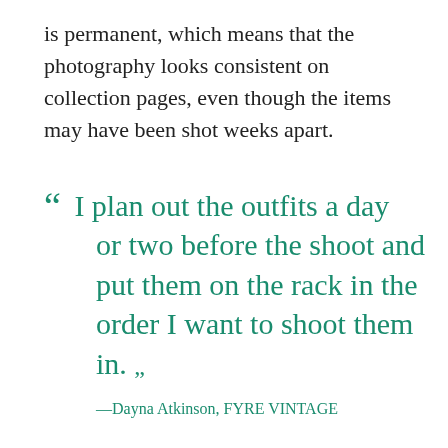is permanent, which means that the photography looks consistent on collection pages, even though the items may have been shot weeks apart.
“ I plan out the outfits a day or two before the shoot and put them on the rack in the order I want to shoot them in. ”
—Dayna Atkinson, FYRE VINTAGE